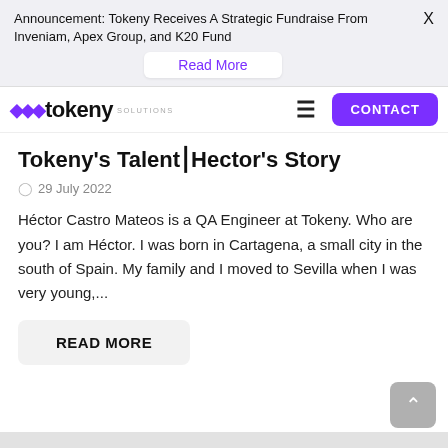Announcement: Tokeny Receives A Strategic Fundraise From Inveniam, Apex Group, and K20 Fund
Read More
[Figure (logo): Tokeny Solutions logo with purple diamond shapes and bold text]
Tokeny's Talent– Hector's Story
29 July 2022
Héctor Castro Mateos is a QA Engineer at Tokeny.  Who are you? I am Héctor. I was born in Cartagena, a small city in the south of Spain. My family and I moved to Sevilla when I was very young,...
READ MORE